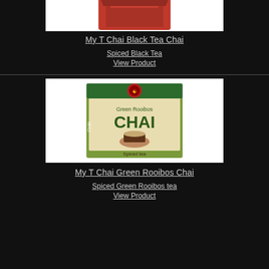[Figure (photo): Product photo of My T Chai Black Tea Chai box, partially visible at top]
My T Chai Black Tea Chai
Spiced Black Tea
View Product
[Figure (photo): Product photo of My T Chai Green Rooibos Chai box with green packaging showing chai cup]
My T Chai Green Rooibos Chai
Spiced Green Rooibos tea
View Product